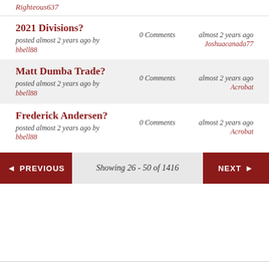Righteous637
2021 Divisions?
posted almost 2 years ago by bbell88
0 Comments
almost 2 years ago Joshuacanada77
Matt Dumba Trade?
posted almost 2 years ago by bbell88
0 Comments
almost 2 years ago Acrobat
Frederick Andersen?
posted almost 2 years ago by bbell88
0 Comments
almost 2 years ago Acrobat
◄ PREVIOUS   Showing 26 - 50 of 1416   NEXT ►